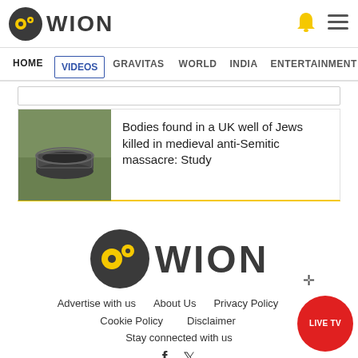[Figure (logo): WION news logo - dark circular icon with yellow elements and WION text in dark]
HOME  VIDEOS  GRAVITAS  WORLD  INDIA  ENTERTAINMENT  SPORTS
[Figure (photo): Image of a stone well in a grassy area]
Bodies found in a UK well of Jews killed in medieval anti-Semitic massacre: Study
[Figure (logo): WION news logo large - dark circular icon with yellow elements and WION text]
Advertise with us   About Us   Privacy Policy
Cookie Policy   Disclaimer
Stay connected with us
[Figure (other): LIVE TV red circular button]